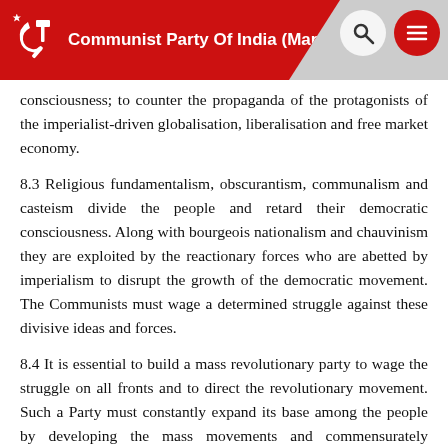Communist Party Of India (Marxist)
consciousness; to counter the propaganda of the protagonists of the imperialist-driven globalisation, liberalisation and free market economy.
8.3 Religious fundamentalism, obscurantism, communalism and casteism divide the people and retard their democratic consciousness. Along with bourgeois nationalism and chauvinism they are exploited by the reactionary forces who are abetted by imperialism to disrupt the growth of the democratic movement. The Communists must wage a determined struggle against these divisive ideas and forces.
8.4 It is essential to build a mass revolutionary party to wage the struggle on all fronts and to direct the revolutionary movement. Such a Party must constantly expand its base among the people by developing the mass movements and commensurately consolidate its influence politically and ideologically. This requires a strong, disciplined Party based on democratic centralism. To discharge its historic responsibility towards the working class and all sections of the working people, the Party must constantly